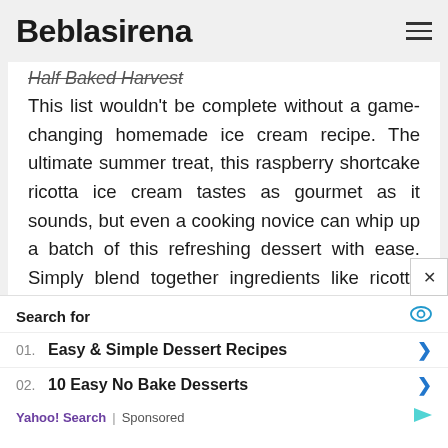Beblasirena
Half Baked Harvest
This list wouldn't be complete without a game-changing homemade ice cream recipe. The ultimate summer treat, this raspberry shortcake ricotta ice cream tastes as gourmet as it sounds, but even a cooking novice can whip up a batch of this refreshing dessert with ease. Simply blend together ingredients like ricotta cheese, honey, vanilla, and lemon zest before stirring in fresh raspberries and crumbled biscuits you can easily pick up from the market.
Search for
01. Easy & Simple Dessert Recipes
02. 10 Easy No Bake Desserts
Yahoo! Search | Sponsored